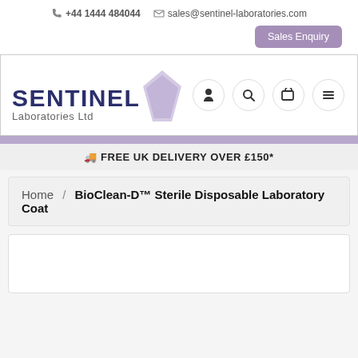+44 1444 484044   sales@sentinel-laboratories.com
Sales Enquiry
[Figure (logo): Sentinel Laboratories Ltd logo with purple geometric diamond shape and dark blue bold text]
FREE UK DELIVERY OVER £150*
Home / BioClean-D™ Sterile Disposable Laboratory Coat